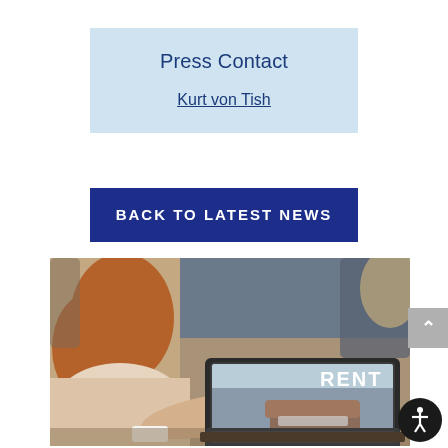Press Contact
Kurt von Tish
BACK TO LATEST NEWS
[Figure (photo): Woman sitting at a cafe table using a laptop that displays a rental furniture website with the word RENT prominently shown, holding a coffee cup, with chairs and tables in the background.]